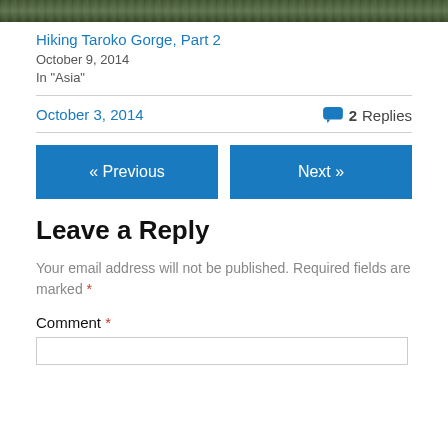[Figure (photo): Dark photo strip showing outdoor/nature scene at top of page]
Hiking Taroko Gorge, Part 2
October 9, 2014
In "Asia"
October 3, 2014
2 Replies
« Previous
Next »
Leave a Reply
Your email address will not be published. Required fields are marked *
Comment *